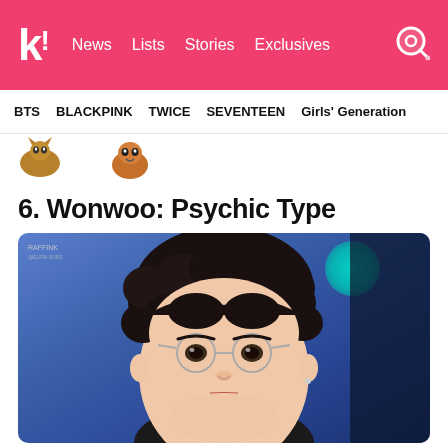k! News Lists Stories Exclusives
BTS BLACKPINK TWICE SEVENTEEN Girls' Generation
[Figure (illustration): Small Pokemon sprite images partially visible in a strip]
6. Wonwoo: Psychic Type
[Figure (photo): Close-up portrait photo of Wonwoo from SEVENTEEN wearing round wire-frame glasses, with curly black hair, looking upward, blurred blue background with teal light. Watermark text RAFFINK in top left corner.]